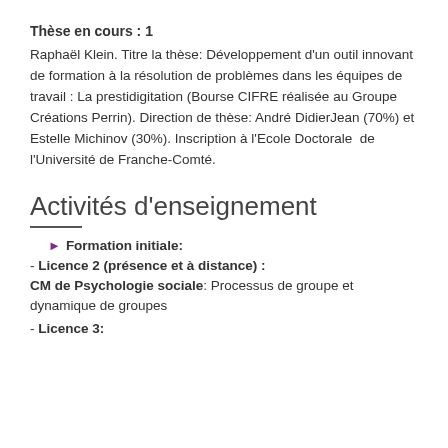Thèse en cours : 1
Raphaël Klein. Titre la thèse: Développement d'un outil innovant de formation à la résolution de problèmes dans les équipes de travail : La prestidigitation (Bourse CIFRE réalisée au Groupe Créations Perrin). Direction de thèse: André DidierJean (70%) et Estelle Michinov (30%). Inscription à l'Ecole Doctorale  de l'Université de Franche-Comté.
Activités d'enseignement
Formation initiale:
- Licence 2 (présence et à distance) :
CM de Psychologie sociale: Processus de groupe et dynamique de groupes
- Licence 3: